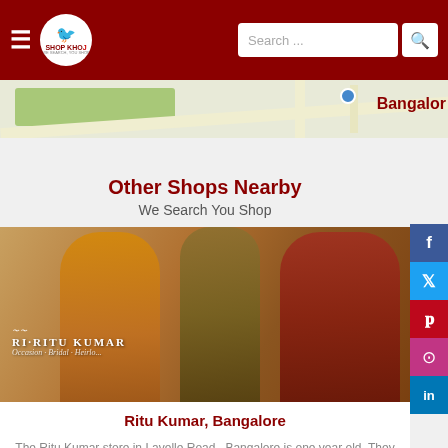Shop Khoj — We Search You Shop (header navigation bar)
[Figure (map): Partial map strip showing green area and roads with Bangalore label]
Other Shops Nearby
We Search You Shop
[Figure (photo): Ri-Ritu Kumar fashion store promotional image showing three models in traditional Indian attire with tagline Occasion. Bridal. Heirloom.]
Ritu Kumar, Bangalore
The Ritu Kumar store in Lavelle Road , Bangalore is one year old. They have 5 other stores in Bangalore . Casual Wear Clothes When